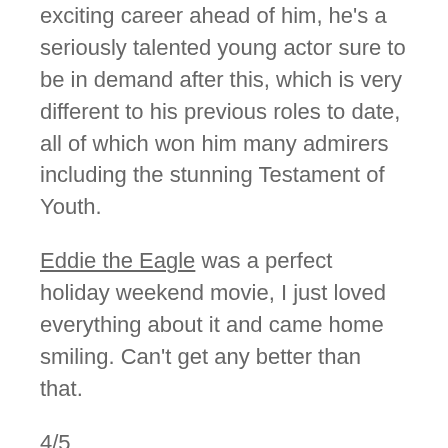exciting career ahead of him, he's a seriously talented young actor sure to be in demand after this, which is very different to his previous roles to date, all of which won him many admirers including the stunning Testament of Youth.
Eddie the Eagle was a perfect holiday weekend movie, I just loved everything about it and came home smiling. Can't get any better than that.
4/5
Carolyn McDowall, The Culture Concept Circle, 2016
Watch the Trailer